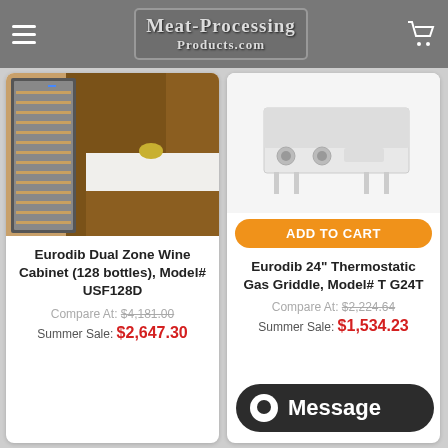Meat-Processing Products.com
[Figure (photo): Wine cabinet with multiple shelves for bottles, shown in a modern kitchen setting]
Eurodib Dual Zone Wine Cabinet (128 bottles), Model# USF128D
Compare At: $4,181.00
Summer Sale: $2,647.30
[Figure (photo): Eurodib white thermostatic gas griddle with two control knobs and legs]
ADD TO CART
Eurodib 24" Thermostatic Gas Griddle, Model# T G24T
Compare At: $2,224.64
Summer Sale: $1,534.23
Message